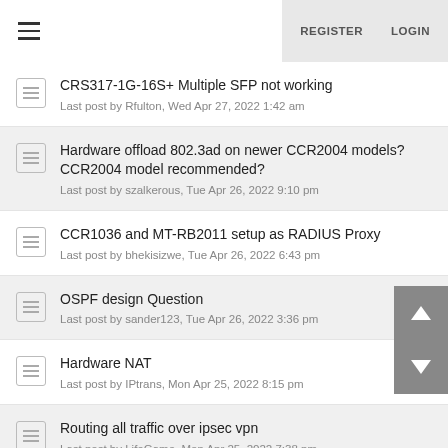REGISTER  LOGIN
CRS317-1G-16S+ Multiple SFP not working
Last post by Rfulton, Wed Apr 27, 2022 1:42 am
Hardware offload 802.3ad on newer CCR2004 models? CCR2004 model recommended?
Last post by szalkerous, Tue Apr 26, 2022 9:10 pm
CCR1036 and MT-RB2011 setup as RADIUS Proxy
Last post by bhekisizwe, Tue Apr 26, 2022 6:43 pm
OSPF design Question
Last post by sander123, Tue Apr 26, 2022 3:36 pm
Hardware NAT
Last post by IPtrans, Mon Apr 25, 2022 8:15 pm
Routing all traffic over ipsec vpn
Last post by LifeGame, Mon Apr 25, 2022 7:38 pm